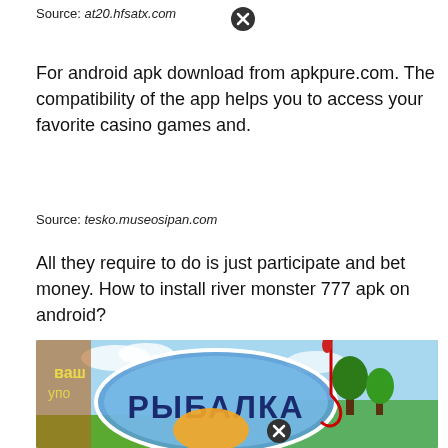Source: at20.hfsatx.com
For android apk download from apkpure.com. The compatibility of the app helps you to access your favorite casino games and.
Source: tesko.museosipan.com
All they require to do is just participate and bet money. How to install river monster 777 apk on android?
[Figure (illustration): Game logo or promotional image with Cyrillic text РЫБАЛКА (fishing) on a blue round banner, with a fishing hook, orange/yellow elements, brown structure on left, and green trees/nature background.]